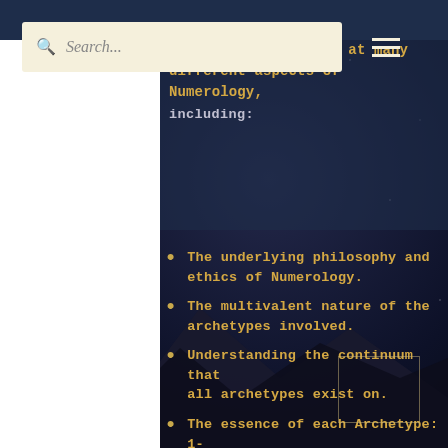original name at birth. In our one-on-one lessons, we can look at many different aspects of Numerology, including:
The underlying philosophy and ethics of Numerology.
The multivalent nature of the archetypes involved.
Understanding the continuum that all archetypes exist on.
The essence of each Archetype: 1-9. Their strengths, gifts, & challenges.
How to work with the archetypes in combination with each other.
Moving from theory to practise, working professionally.
How to calculate the core